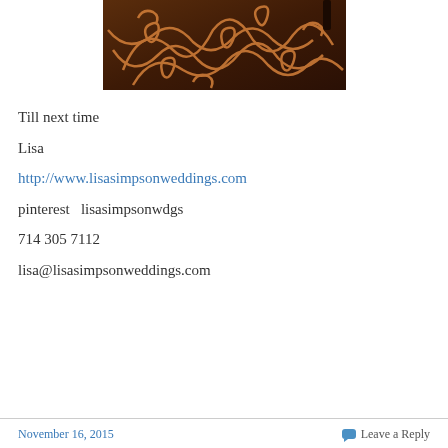[Figure (photo): Decorative light projection of swirling ornamental patterns on a dark floor surface, amber/orange colored]
Till next time
Lisa
http://www.lisasimpsonweddings.com
pinterest   lisasimpsonwdgs
714 305 7112
lisa@lisasimpsonweddings.com
November 16, 2015    Leave a Reply